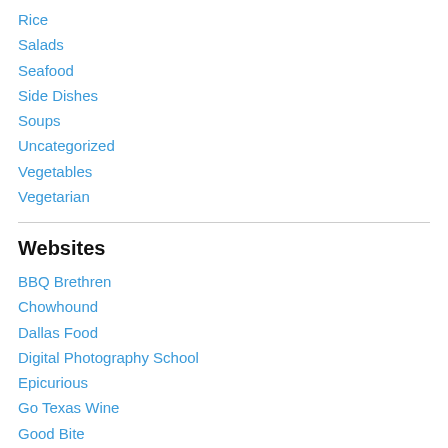Rice
Salads
Seafood
Side Dishes
Soups
Uncategorized
Vegetables
Vegetarian
Websites
BBQ Brethren
Chowhound
Dallas Food
Digital Photography School
Epicurious
Go Texas Wine
Good Bite
Khatter Vineyards